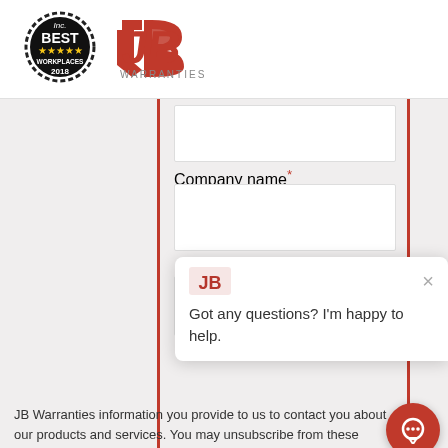[Figure (logo): Inc. Best Workplaces 2018 badge - circular black badge with gold stars and 'BEST WORKPLACES 2018' text]
[Figure (logo): JB Warranties logo - red stylized JB letters with WARRANTIES text below]
Company name*
Email*
JB Warranties information you provide to us to contact you about our products and services. You may unsubscribe from these communications at any time.
[Figure (screenshot): Chat popup widget with JB Warranties logo, close button (x), and message 'Got any questions? I'm happy to help.' with a red circular chat button at bottom right]